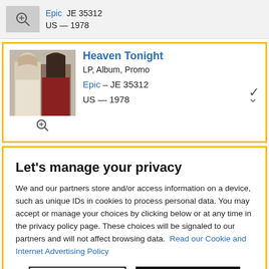Epic  JE 35312
US — 1978
Heaven Tonight
LP, Album, Promo
Epic – JE 35312
US — 1978
Let's manage your privacy
We and our partners store and/or access information on a device, such as unique IDs in cookies to process personal data. You may accept or manage your choices by clicking below or at any time in the privacy policy page. These choices will be signaled to our partners and will not affect browsing data. Read our Cookie and Internet Advertising Policy